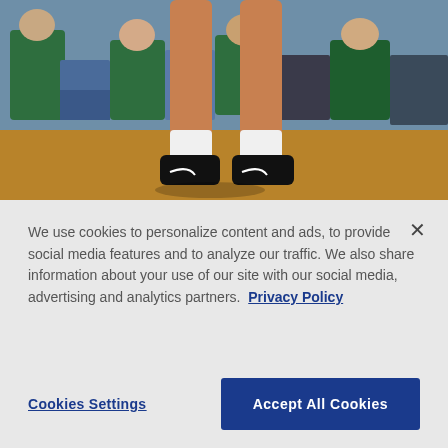[Figure (photo): Basketball player's legs/feet on court with spectators seated in background wearing green]
Cockburn leads No. 12 Illinois past slumping No. 19 Spartans
Feb. 19, 2022 02:38 PM EST
[Figure (photo): Basketball net close-up with dark background and orange jersey visible]
We use cookies to personalize content and ads, to provide social media features and to analyze our traffic. We also share information about your use of our site with our social media, advertising and analytics partners. Privacy Policy
Cookies Settings | Accept All Cookies